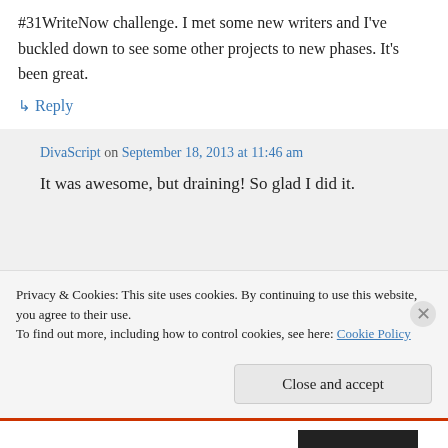#31WriteNow challenge. I met some new writers and I've buckled down to see some other projects to new phases. It's been great.
↳ Reply
DivaScript on September 18, 2013 at 11:46 am
It was awesome, but draining! So glad I did it.
Privacy & Cookies: This site uses cookies. By continuing to use this website, you agree to their use.
To find out more, including how to control cookies, see here: Cookie Policy